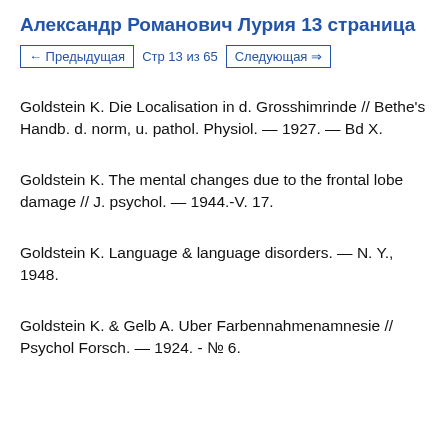Александр Романович Лурия 13 страница
← Предыдущая   Стр 13 из 65   Следующая →
Goldstein K. Die Localisation in d. Grosshimrinde // Bethe's Handb. d. norm, u. pathol. Physiol. — 1927. — Bd X.
Goldstein K. The mental changes due to the frontal lobe damage // J. psychol. — 1944.-V. 17.
Goldstein K. Language & language disorders. — N. Y., 1948.
Goldstein K. & Gelb A. Uber Farbennahmenamnesie // Psychol Forsch. — 1924. - № 6.